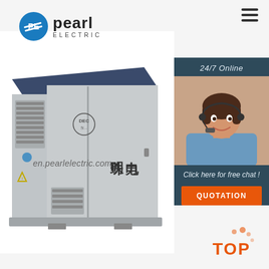[Figure (logo): Pearl Electric logo with blue globe icon and 'pearl ELECTRIC' text]
[Figure (photo): Large outdoor electrical substation / transformer box unit in grey, branded with Chinese characters 明珠电力 and DEC logo, shown in perspective view]
en.pearlelectric.com
[Figure (infographic): 24/7 online chat panel with female agent wearing headset, 'Click here for free chat!' text, and orange QUOTATION button]
[Figure (other): Orange TOP button with decorative dots, scroll-to-top indicator]